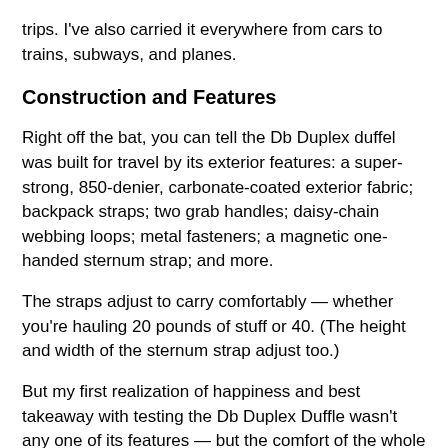trips. I've also carried it everywhere from cars to trains, subways, and planes.
Construction and Features
Right off the bat, you can tell the Db Duplex duffel was built for travel by its exterior features: a super-strong, 850-denier, carbonate-coated exterior fabric; backpack straps; two grab handles; daisy-chain webbing loops; metal fasteners; a magnetic one-handed sternum strap; and more.
The straps adjust to carry comfortably — whether you're hauling 20 pounds of stuff or 40. (The height and width of the sternum strap adjust too.)
But my first realization of happiness and best takeaway with testing the Db Duplex Duffle wasn't any one of its features — but the comfort of the whole bag itself. The split compartment makes it easier to organize and pack, and also easier to balance out the weight. And the back panel of the duffel is comfortable; I didn't even notice the zipper was there.
Lastly, let's not overlook the flat mesh compartment (store